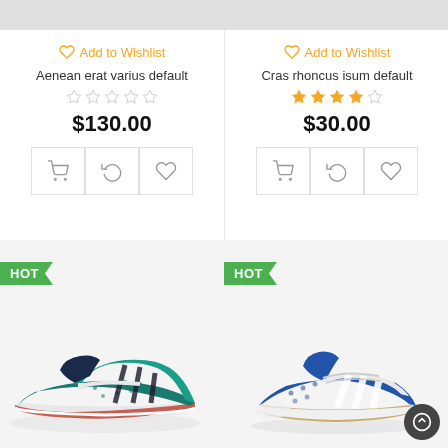[Figure (screenshot): Top gray image placeholder bar (left product)]
[Figure (screenshot): Top gray image placeholder bar (right product)]
♡ Add to Wishlist
Aenean erat varius default
$130.00
♡ Add to Wishlist
Cras rhoncus isum default
$30.00
[Figure (photo): Teal/green Adidas running shoe with velcro strap and red sole, HOT badge]
[Figure (photo): Blue and white Adidas running shoe, HOT badge]